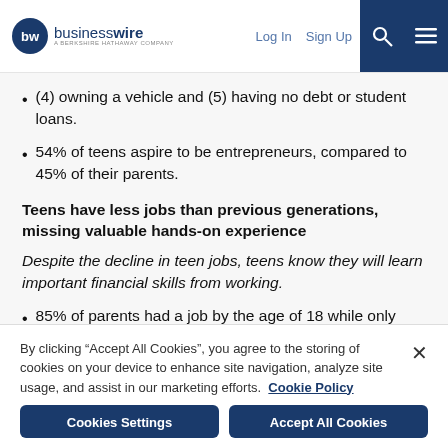businesswire — A BERKSHIRE HATHAWAY COMPANY | Log In | Sign Up
(4) owning a vehicle and (5) having no debt or student loans.
54% of teens aspire to be entrepreneurs, compared to 45% of their parents.
Teens have less jobs than previous generations, missing valuable hands-on experience
Despite the decline in teen jobs, teens know they will learn important financial skills from working.
85% of parents had a job by the age of 18 while only 53% of teens today say they've had work experience.
By clicking “Accept All Cookies”, you agree to the storing of cookies on your device to enhance site navigation, analyze site usage, and assist in our marketing efforts. Cookie Policy
Cookies Settings | Accept All Cookies